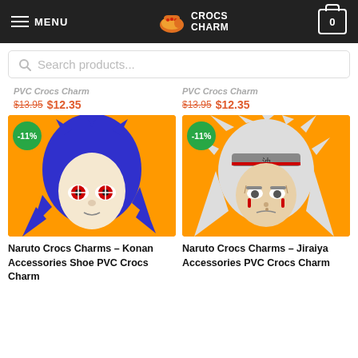MENU | CROCS CHARM | 0
Search products...
PVC Crocs Charm  $13.95  $12.35
PVC Crocs Charm  $13.95  $12.35
[Figure (photo): Naruto Crocs Charm - Konan character with blue hair and red sharingan eyes on orange background, -11% discount badge]
[Figure (photo): Naruto Crocs Charm - Jiraiya character with white hair and headband on orange background, -11% discount badge]
Naruto Crocs Charms – Konan Accessories Shoe PVC Crocs Charm
Naruto Crocs Charms – Jiraiya Accessories PVC Crocs Charm